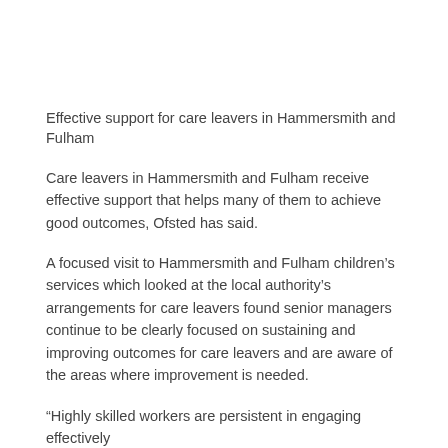Effective support for care leavers in Hammersmith and Fulham
Care leavers in Hammersmith and Fulham receive effective support that helps many of them to achieve good outcomes, Ofsted has said.
A focused visit to Hammersmith and Fulham children’s services which looked at the local authority’s arrangements for care leavers found senior managers continue to be clearly focused on sustaining and improving outcomes for care leavers and are aware of the areas where improvement is needed.
“Highly skilled workers are persistent in engaging effectively